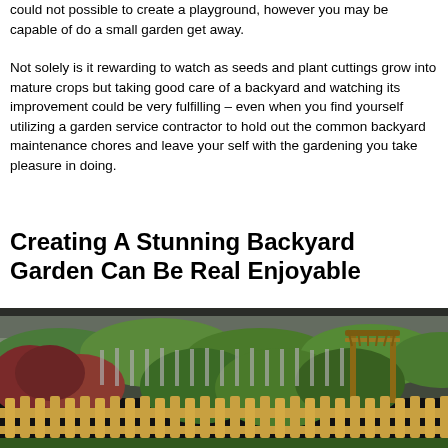could not possible to create a playground, however you may be capable of do a small garden get away.
Not solely is it rewarding to watch as seeds and plant cuttings grow into mature crops but taking good care of a backyard and watching its improvement could be very fulfilling – even when you find yourself utilizing a garden service contractor to hold out the common backyard maintenance chores and leave your self with the gardening you take pleasure in doing.
Creating A Stunning Backyard Garden Can Be Real Enjoyable
[Figure (photo): Photo of a lush backyard garden with green hedges, red-leafed shrubs, a wooden picket fence in the foreground, a wooden pergola/arbor on the right, and a wooden fence in the background.]